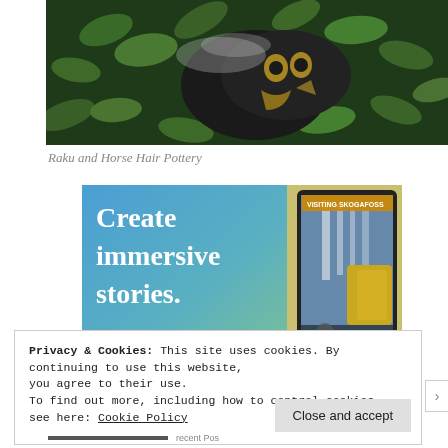[Figure (photo): Close-up photo of a dark ceramic pottery piece with yellow owl-like design resting among green leaves, with a wisp of smoke or mist visible]
Raku and Horse Hair Pottery
[Figure (screenshot): Advertisement screenshot showing 'Create immersive stories.' text in white on blue-green gradient background, with a phone mockup showing 'VISITING SKOGAFOSS' waterfall story on the right side]
Privacy & Cookies: This site uses cookies. By continuing to use this website, you agree to their use.
To find out more, including how to control cookies, see here: Cookie Policy
Close and accept